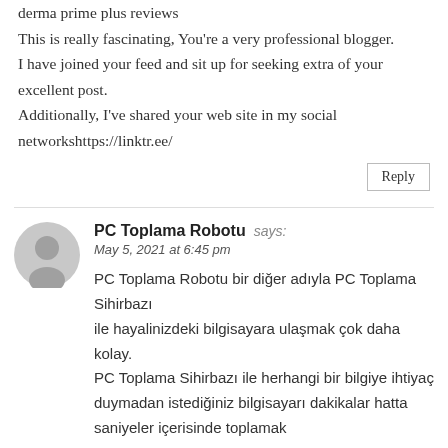derma prime plus reviews
This is really fascinating, You're a very professional blogger.
I have joined your feed and sit up for seeking extra of your excellent post.
Additionally, I've shared your web site in my social networkshttps://linktr.ee/
Reply
PC Toplama Robotu says:
May 5, 2021 at 6:45 pm
PC Toplama Robotu bir diğer adıyla PC Toplama Sihirbazı
ile hayalinizdeki bilgisayara ulaşmak çok daha kolay.
PC Toplama Sihirbazı ile herhangi bir bilgiye ihtiyaç duymadan istediğiniz bilgisayarı dakikalar hatta saniyeler içerisinde toplamak